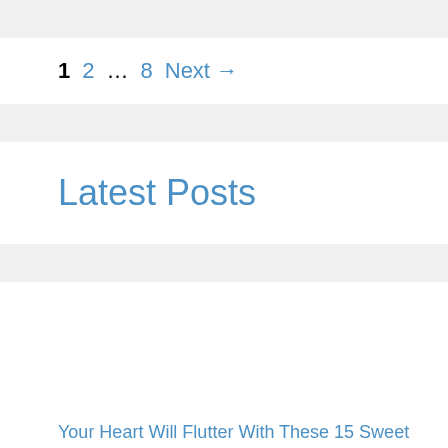1  2  …  8  Next →
Latest Posts
Your Heart Will Flutter With These 15 Sweet And Sassy Butterfly Quilt Patterns